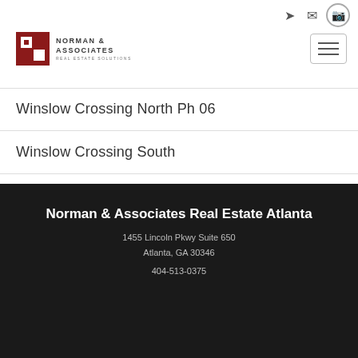[Figure (logo): Norman & Associates Real Estate Solutions logo with red square icon]
Winslow Crossing North Ph 06
Winslow Crossing South
Winslow Crossing South Ph 01
WOODSTREAM
Norman & Associates Real Estate Atlanta
1455 Lincoln Pkwy Suite 650
Atlanta, GA 30346
404-513-0375